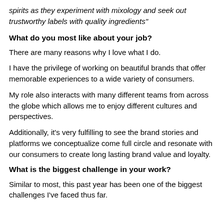spirits as they experiment with mixology and seek out trustworthy labels with quality ingredients"
What do you most like about your job?
There are many reasons why I love what I do.
I have the privilege of working on beautiful brands that offer memorable experiences to a wide variety of consumers.
My role also interacts with many different teams from across the globe which allows me to enjoy different cultures and perspectives.
Additionally, it's very fulfilling to see the brand stories and platforms we conceptualize come full circle and resonate with our consumers to create long lasting brand value and loyalty.
What is the biggest challenge in your work?
Similar to most, this past year has been one of the biggest challenges I've faced thus far.